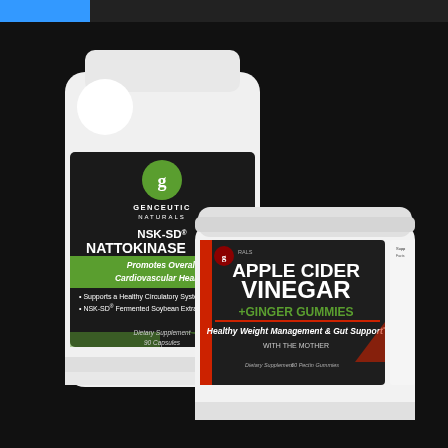[Figure (photo): Two Genceutic Naturals supplement products on dark background. Left: white bottle of NSK-SD Nattokinase (90 capsules) with black and green label promoting cardiovascular health. Right: white jar of Apple Cider Vinegar + Ginger Gummies (60 Pectin Gummies) with black/red label promoting healthy weight management and gut support with the mother.]